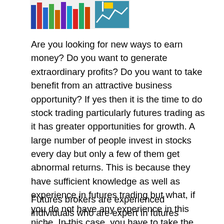[Figure (illustration): Colorful stock market / financial trading themed banner image with bar chart graphics and financial icons]
Are you looking for new ways to earn money? Do you want to generate extraordinary profits? Do you want to take benefit from an attractive business opportunity? If yes then it is the time to do stock trading particularly futures trading as it has greater opportunities for growth. A large number of people invest in stocks every day but only a few of them get abnormal returns. This is because they have sufficient knowledge as well as experience in futures trading but what, if you do not have any experience in this niche. In this case, you have to take the services of futures brokers.
Futures brokers are experienced individuals who are expert in futures trading. They are aware of the secrets